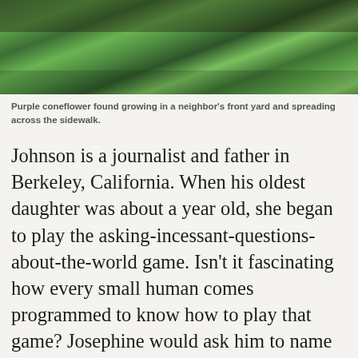[Figure (photo): Close-up photograph of green leafy plants, likely purple coneflower foliage, with blurred background showing garden/outdoor setting.]
Purple coneflower found growing in a neighbor's front yard and spreading across the sidewalk.
Johnson is a journalist and father in Berkeley, California. When his oldest daughter was about a year old, she began to play the asking-incessant-questions-about-the-world game. Isn't it fascinating how every small human comes programmed to know how to play that game? Josephine would ask him to name the trees, the bird flying above or pecking at their feet, the sky. In this way, Johnson came to see his urban environment a bit more carefully: